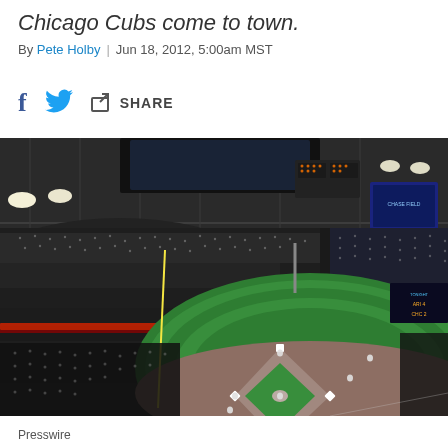Chicago Cubs come to town.
By Pete Holby | Jun 18, 2012, 5:00am MST
[Figure (photo): Aerial night view of a baseball stadium (Chase Field) with the retractable roof partially open, field lit up, packed crowd in the stands, players visible on the diamond.]
Presswire